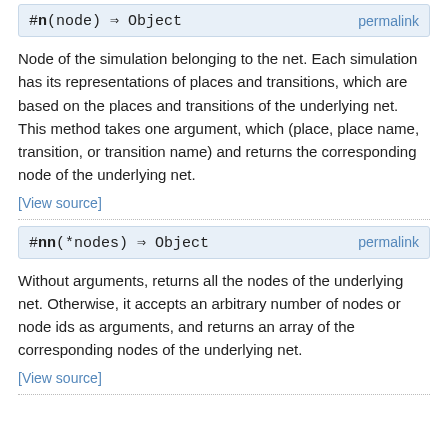#n(node) ⇒ Object   permalink
Node of the simulation belonging to the net. Each simulation has its representations of places and transitions, which are based on the places and transitions of the underlying net. This method takes one argument, which (place, place name, transition, or transition name) and returns the corresponding node of the underlying net.
[View source]
#nn(*nodes) ⇒ Object   permalink
Without arguments, returns all the nodes of the underlying net. Otherwise, it accepts an arbitrary number of nodes or node ids as arguments, and returns an array of the corresponding nodes of the underlying net.
[View source]